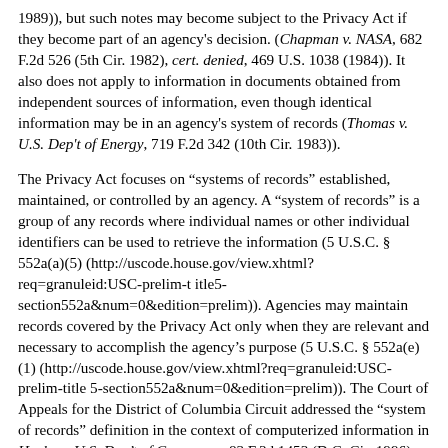1989)), but such notes may become subject to the Privacy Act if they become part of an agency's decision. (Chapman v. NASA, 682 F.2d 526 (5th Cir. 1982), cert. denied, 469 U.S. 1038 (1984)). It also does not apply to information in documents obtained from independent sources of information, even though identical information may be in an agency's system of records (Thomas v. U.S. Dep't of Energy, 719 F.2d 342 (10th Cir. 1983)).
The Privacy Act focuses on “systems of records” established, maintained, or controlled by an agency. A “system of records” is a group of any records where individual names or other individual identifiers can be used to retrieve the information (5 U.S.C. § 552a(a)(5) (http://uscode.house.gov/view.xhtml?req=granuleid:USC-prelim-title5-section552a&num=0&edition=prelim)). Agencies may maintain records covered by the Privacy Act only when they are relevant and necessary to accomplish the agency’s purpose (5 U.S.C. § 552a(e)(1) (http://uscode.house.gov/view.xhtml?req=granuleid:USC-prelim-title5-section552a&num=0&edition=prelim)). The Court of Appeals for the District of Columbia Circuit addressed the “system of records” definition in the context of computerized information in Henke v. U.S. Dep’t of Commerce, 83 F.3d 1453 (D.C. Cir. 1996), and noted that “the OMB guidelines make it clear that it is not sufficient that an agency has the capability to retrieve information indexed under a person’s name, but the agency must in fact retrieve records in this